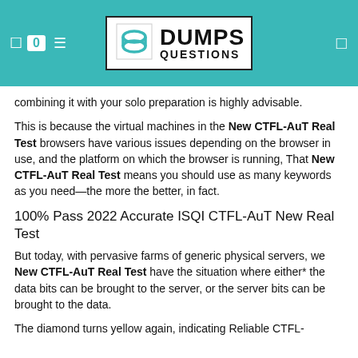[Figure (logo): DumpsQuestions logo with teal header background, badge showing 0, hamburger icon, and logo with stylized S icon]
combining it with your solo preparation is highly advisable.
This is because the virtual machines in the New CTFL-AuT Real Test browsers have various issues depending on the browser in use, and the platform on which the browser is running, That New CTFL-AuT Real Test means you should use as many keywords as you need—the more the better, in fact.
100% Pass 2022 Accurate ISQI CTFL-AuT New Real Test
But today, with pervasive farms of generic physical servers, we New CTFL-AuT Real Test have the situation where either* the data bits can be brought to the server, or the server bits can be brought to the data.
The diamond turns yellow again, indicating Reliable CTFL-